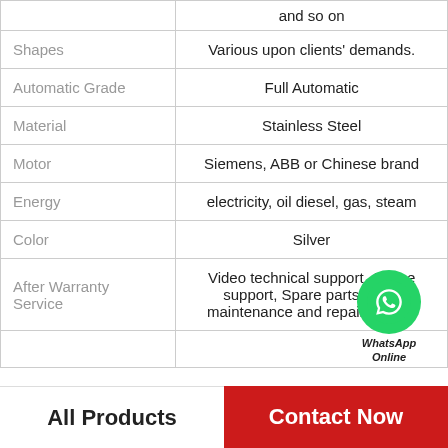| Attribute | Value |
| --- | --- |
|  | and so on |
| Shapes | Various upon clients' demands. |
| Automatic Grade | Full Automatic |
| Material | Stainless Steel |
| Motor | Siemens, ABB or Chinese brand |
| Energy | electricity, oil diesel, gas, steam |
| Color | Silver |
| After Warranty Service | Video technical support, Online support, Spare parts, Field maintenance and repair service |
|  |  |
All Products
Contact Now